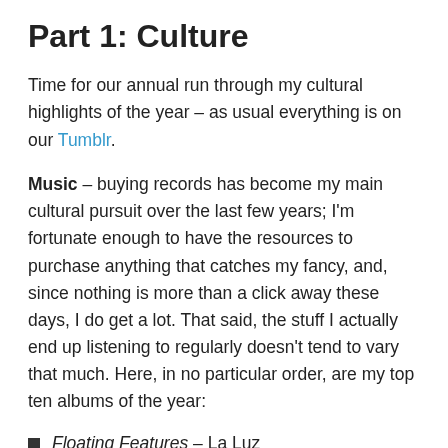Part 1: Culture
Time for our annual run through my cultural highlights of the year – as usual everything is on our Tumblr.
Music – buying records has become my main cultural pursuit over the last few years; I'm fortunate enough to have the resources to purchase anything that catches my fancy, and, since nothing is more than a click away these days, I do get a lot. That said, the stuff I actually end up listening to regularly doesn't tend to vary that much. Here, in no particular order, are my top ten albums of the year:
Floating Features – La Luz
Wide Awake! – Parquet Courts
Goners – Laura Gibson
Quit the Curse – Anna Burch